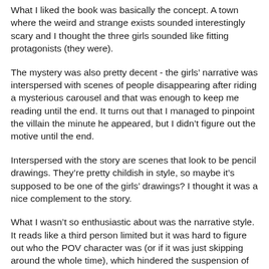What I liked the book was basically the concept. A town where the weird and strange exists sounded interestingly scary and I thought the three girls sounded like fitting protagonists (they were).
The mystery was also pretty decent - the girls' narrative was interspersed with scenes of people disappearing after riding a mysterious carousel and that was enough to keep me reading until the end. It turns out that I managed to pinpoint the villain the minute he appeared, but I didn't figure out the motive until the end.
Interspersed with the story are scenes that look to be pencil drawings. They're pretty childish in style, so maybe it's supposed to be one of the girls' drawings? I thought it was a nice complement to the story.
What I wasn't so enthusiastic about was the narrative style. It reads like a third person limited but it was hard to figure out who the POV character was (or if it was just skipping around the whole time), which hindered the suspension of disbelief. And like I mentioned before, the villain was pretty easy to